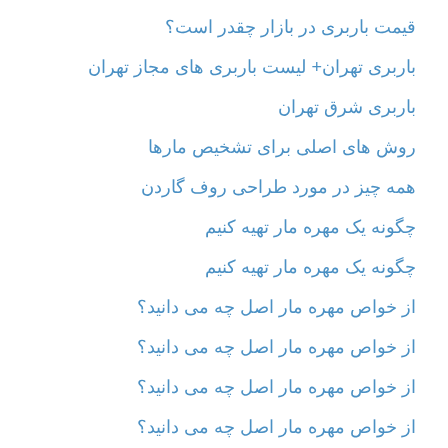قیمت باربری در بازار چقدر است؟
باربری تهران+ لیست باربری های مجاز تهران
باربری شرق تهران
روش های اصلی برای تشخیص مارها
همه چیز در مورد طراحی روف گاردن
چگونه یک مهره مار تهیه کنیم
چگونه یک مهره مار تهیه کنیم
از خواص مهره مار اصل چه می دانید؟
از خواص مهره مار اصل چه می دانید؟
از خواص مهره مار اصل چه می دانید؟
از خواص مهره مار اصل چه می دانید؟